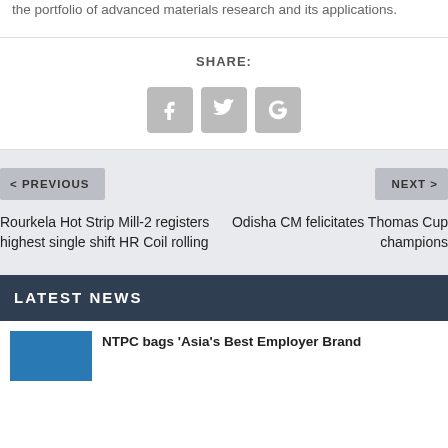the portfolio of advanced materials research and its applications.
SHARE:
[Figure (infographic): Three social media share buttons: Facebook (f), Twitter (bird), Google+ (g+), displayed as grey rounded square icons]
< PREVIOUS
NEXT >
Rourkela Hot Strip Mill-2 registers highest single shift HR Coil rolling
Odisha CM felicitates Thomas Cup champions
LATEST NEWS
NTPC bags 'Asia's Best Employer Brand